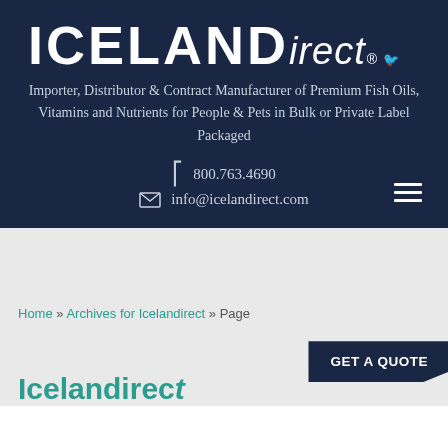[Figure (logo): ICELANDirect logo with registered trademark and bird icon on dark navy background]
Importer, Distributor & Contract Manufacturer of Premium Fish Oils, Vitamins and Nutrients for People & Pets in Bulk or Private Label Packaged
800.763.4690
info@icelandirect.com
Home » Archives for Icelandirect » Page
GET A QUOTE